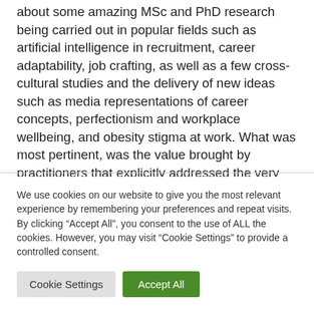about some amazing MSc and PhD research being carried out in popular fields such as artificial intelligence in recruitment, career adaptability, job crafting, as well as a few cross-cultural studies and the delivery of new ideas such as media representations of career concepts, perfectionism and workplace wellbeing, and obesity stigma at work. What was most pertinent, was the value brought by practitioners that explicitly addressed the very candidates on the verge of entering the labour market. For example, Ellie Yell's revolutionary app
We use cookies on our website to give you the most relevant experience by remembering your preferences and repeat visits. By clicking "Accept All", you consent to the use of ALL the cookies. However, you may visit "Cookie Settings" to provide a controlled consent.